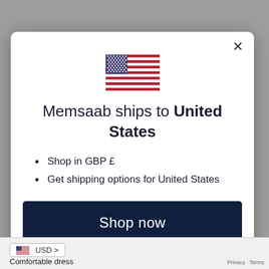[Figure (illustration): US flag emoji/icon, displayed centered at top of modal dialog]
Memsaab ships to United States
Shop in GBP £
Get shipping options for United States
Shop now
Change shipping country
USD >
Comfortable dress
Privacy · Terms